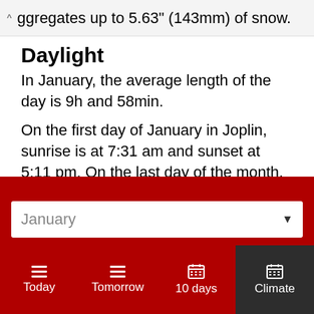ggregates up to 5.63" (143mm) of snow.
Daylight
In January, the average length of the day is 9h and 58min.
On the first day of January in Joplin, sunrise is at 7:31 am and sunset at 5:11 pm. On the last day of the month, sunrise is at 7:21 am and sunset at 5:41 pm CST.
Sunshine
January
Today
Tomorrow
10 days
Climate